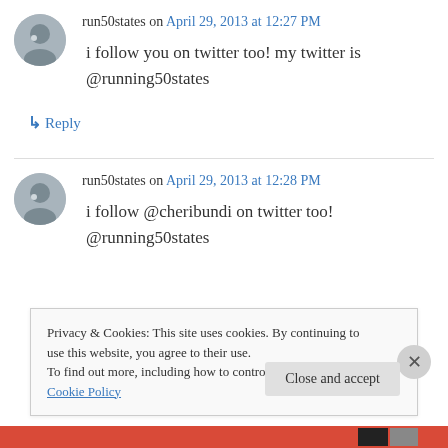run50states on April 29, 2013 at 12:27 PM
i follow you on twitter too! my twitter is @running50states
↳ Reply
run50states on April 29, 2013 at 12:28 PM
i follow @cheribundi on twitter too! @running50states
Privacy & Cookies: This site uses cookies. By continuing to use this website, you agree to their use. To find out more, including how to control cookies, see here: Cookie Policy
Close and accept